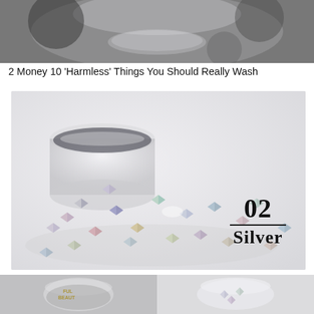[Figure (photo): Blurred background photo showing a glass jar with holographic butterfly glitter sequins spilling out, dark moody background]
2 Money 10 'Harmless' Things You Should Really Wash
[Figure (photo): Close-up product photo of holographic silver butterfly-shaped nail art glitter sequins spilling from a clear glass jar onto a white surface. Label in top right corner reads '02 Silver'.]
[Figure (photo): Bottom portion showing two small product images: left shows a jar labeled 'FUL BEAUT' filled with holographic butterfly glitter; right shows a clear container with white/iridescent butterfly sequins]